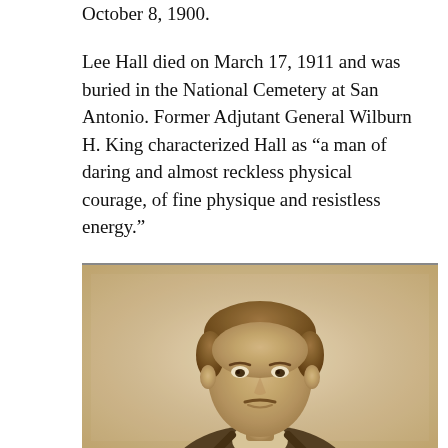October 8, 1900.
Lee Hall died on March 17, 1911 and was buried in the National Cemetery at San Antonio. Former Adjutant General Wilburn H. King characterized Hall as “a man of daring and almost reckless physical courage, of fine physique and resistless energy.”
[Figure (photo): Sepia-toned historical portrait photograph of a young man with short wavy hair, a slight mustache, wearing a suit jacket, looking toward the camera with a slight smile.]